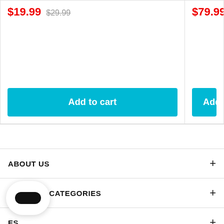$19.99  $29.99
Add to cart
$79.99  $99.99
Add to
ABOUT US
POPULAR CATEGORIES
ES